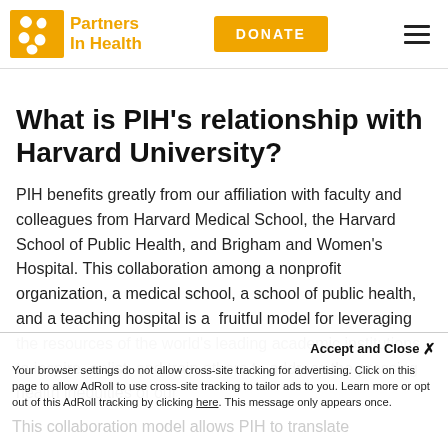Partners In Health | DONATE
What is PIH’s relationship with Harvard University?
PIH benefits greatly from our affiliation with faculty and colleagues from Harvard Medical School, the Harvard School of Public Health, and Brigham and Women’s Hospital. This collaboration among a nonprofit organization, a medical school, a school of public health, and a teaching hospital is a  fruitful model for leveraging the resources of the world’s leading academic institutions to inspire, enlist, and train others to address the pressing health inequities of our
Accept and Close ×
Your browser settings do not allow cross-site tracking for advertising. Click on this page to allow AdRoll to use cross-site tracking to tailor ads to you. Learn more or opt out of this AdRoll tracking by clicking here. This message only appears once.
This collaboration model allows PIH to translate